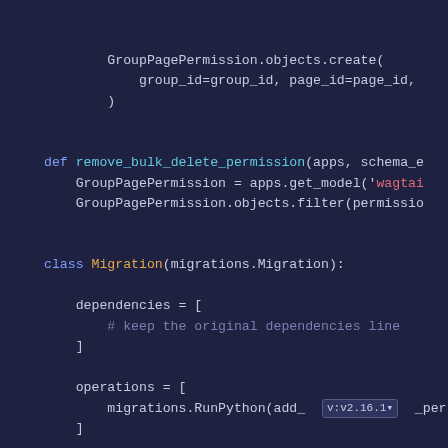[Figure (screenshot): A dark-themed Python code snippet showing Django migration code. The code includes a GroupPagePermission.objects.create() call, a remove_bulk_delete_permission function definition, a Migration class with dependencies and operations lists.]